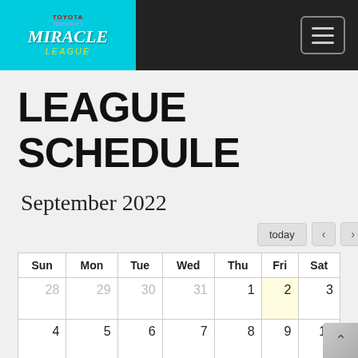Toyota Bluespace Miracle League - Navigation Header
LEAGUE SCHEDULE
September 2022
| Sun | Mon | Tue | Wed | Thu | Fri | Sat |
| --- | --- | --- | --- | --- | --- | --- |
| 28 | 29 | 30 | 31 | 1 | 2 | 3 |
| 4 | 5 | 6 | 7 | 8 | 9 | 10 |